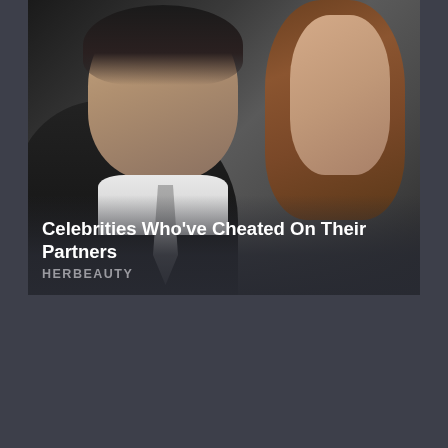[Figure (photo): Photo of a man and woman (celebrities) together, man on left wearing dark suit with white collar and grey tie, woman on right with brown hair and earring, both looking serious]
Celebrities Who've Cheated On Their Partners
HERBEAUTY